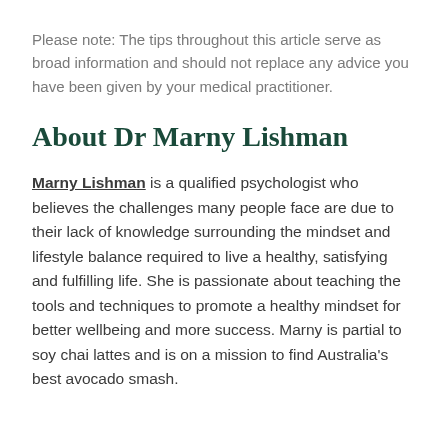Please note: The tips throughout this article serve as broad information and should not replace any advice you have been given by your medical practitioner.
About Dr Marny Lishman
Marny Lishman is a qualified psychologist who believes the challenges many people face are due to their lack of knowledge surrounding the mindset and lifestyle balance required to live a healthy, satisfying and fulfilling life. She is passionate about teaching the tools and techniques to promote a healthy mindset for better wellbeing and more success. Marny is partial to soy chai lattes and is on a mission to find Australia's best avocado smash.